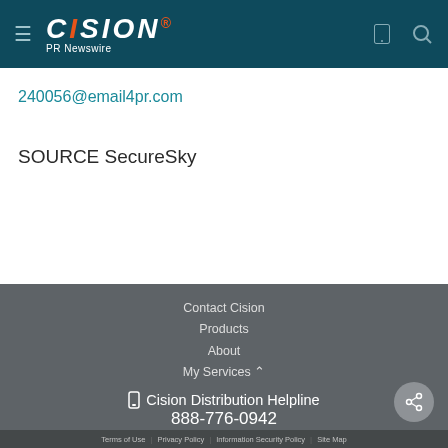CISION PR Newswire
240056@email4pr.com
SOURCE SecureSky
Contact Cision | Products | About | My Services
Cision Distribution Helpline 888-776-0942
Terms of Use | Privacy Policy | Information Security Policy | Site Map